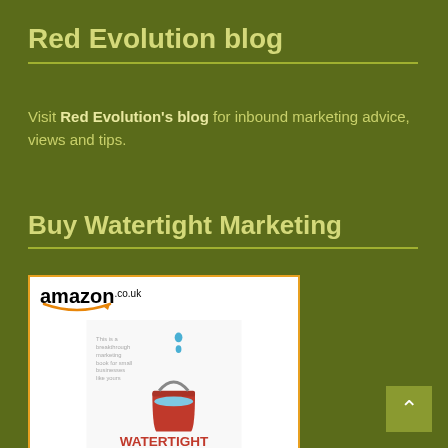Red Evolution blog
Visit Red Evolution's blog for inbound marketing advice, views and tips.
Buy Watertight Marketing
[Figure (screenshot): Amazon.co.uk product card for 'Watertight Marketing' book showing book cover with red bucket, price £3.20, and Shop now button]
Watertight Marketing:...
£3.20